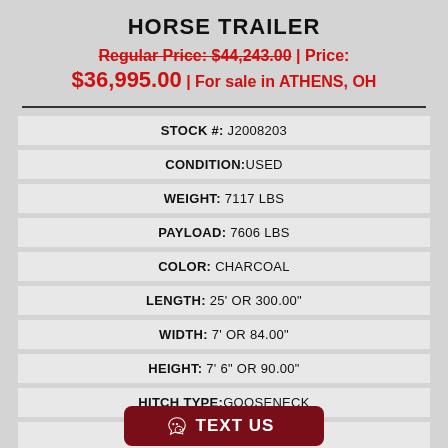HORSE TRAILER
Regular Price: $44,243.00 | Price: $36,995.00 | For sale in ATHENS, OH
| STOCK #: J2008203 |
| CONDITION: USED |
| WEIGHT: 7117 LBS |
| PAYLOAD: 7606 LBS |
| COLOR: CHARCOAL |
| LENGTH: 25' OR 300.00" |
| WIDTH: 7' OR 84.00" |
| HEIGHT: 7' 6" OR 90.00" |
| HITCH TYPE: GOOSENECK |
| GVWR: 14723 |
TEXT US